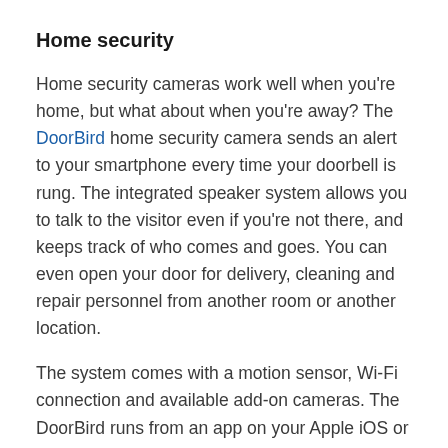Home security
Home security cameras work well when you're home, but what about when you're away? The DoorBird home security camera sends an alert to your smartphone every time your doorbell is rung. The integrated speaker system allows you to talk to the visitor even if you're not there, and keeps track of who comes and goes. You can even open your door for delivery, cleaning and repair personnel from another room or another location.
The system comes with a motion sensor, Wi-Fi connection and available add-on cameras. The DoorBird runs from an app on your Apple iOS or Android device.